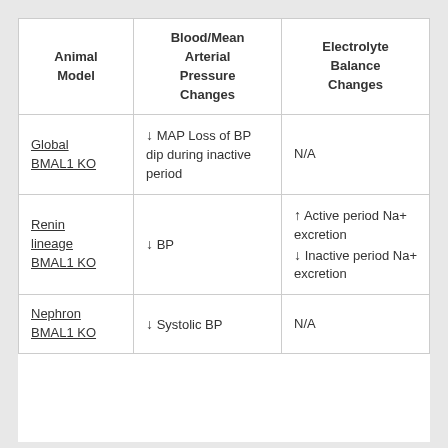| Animal Model | Blood/Mean Arterial Pressure Changes | Electrolyte Balance Changes |
| --- | --- | --- |
| Global BMAL1 KO | ↓ MAP Loss of BP dip during inactive period | N/A |
| Renin lineage BMAL1 KO | ↓ BP | ↑ Active period Na+ excretion ↓ Inactive period Na+ excretion |
| Nephron BMAL1 KO | ↓ Systolic BP | N/A |